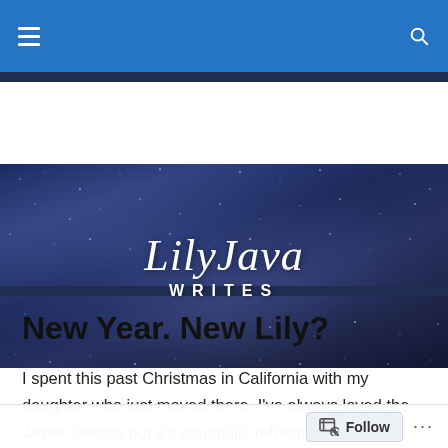Navigation bar with hamburger menu and search icon
[Figure (logo): LilyJava Writes blog banner with starry night sky background and white cursive text 'LilyJava' with 'WRITES' in spaced capitals below]
New Year. New Lily?
I spent this past Christmas in California with my daughter who just moved there. I've always loved the winter season but it's unusually refreshing to me the few times I've spent the holiday season in a warm climate. Walking beneath billowy palm trees while having the warmth of the sun